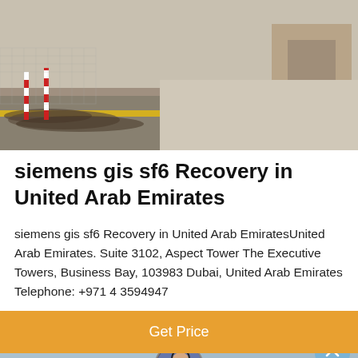[Figure (photo): Construction or industrial site photo showing cables/pipes on ground with yellow line markings and safety barriers]
siemens gis sf6 Recovery in United Arab Emirates
siemens gis sf6 Recovery in United Arab EmiratesUnited Arab Emirates. Suite 3102, Aspect Tower The Executive Towers, Business Bay, 103983 Dubai, United Arab Emirates Telephone: +971 4 3594947
[Figure (other): Orange 'Get Price' button]
[Figure (photo): Bottom section showing a customer service representative with headset, with Leave Message and Chat Online navigation bar]